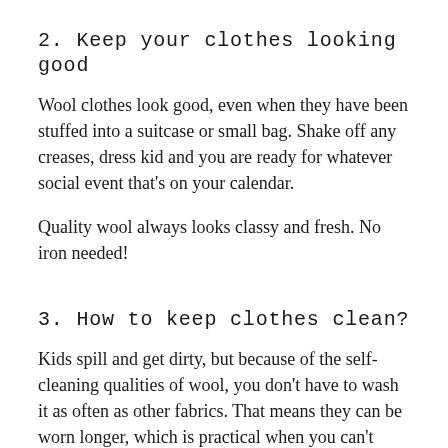2. Keep your clothes looking good
Wool clothes look good, even when they have been stuffed into a suitcase or small bag. Shake off any creases, dress kid and you are ready for whatever social event that’s on your calendar.
Quality wool always looks classy and fresh. No iron needed!
3. How to keep clothes clean?
Kids spill and get dirty, but because of the self-cleaning qualities of wool, you don’t have to wash it as often as other fabrics. That means they can be worn longer, which is practical when you can’t